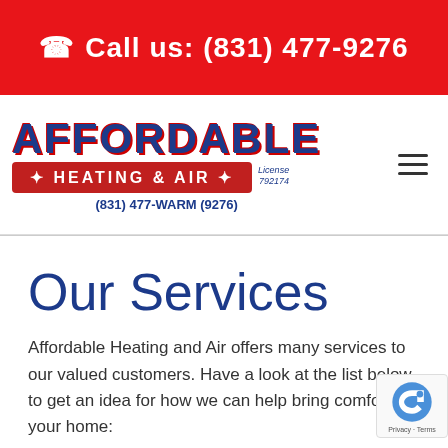📞 Call us: (831) 477-9276
[Figure (logo): Affordable Heating & Air logo with blue arched text 'AFFORDABLE', red banner reading 'HEATING & AIR', license number 792174, and phone number (831) 477-WARM (9276)]
Our Services
Affordable Heating and Air offers many services to our valued customers. Have a look at the list below to get an idea for how we can help bring comfort to your home: